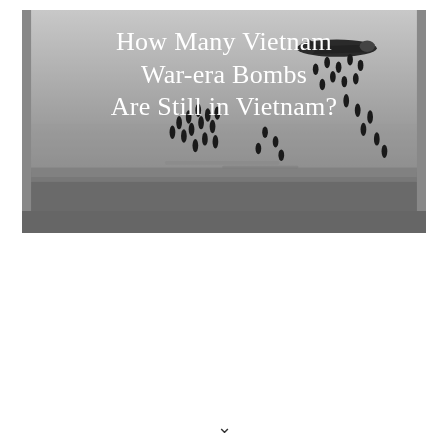[Figure (photo): Black and white photograph of Vietnam War-era aerial bombing raid, showing a military aircraft dropping numerous bombs that are visible falling in clusters against a gray sky.]
How Many Vietnam War-era Bombs Are Still in Vietnam?